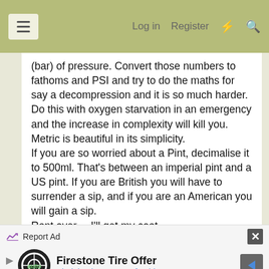☰   Log in   Register   ⚡   🔍
(bar) of pressure. Convert those numbers to fathoms and PSI and try to do the maths for say a decompression and it is so much harder. Do this with oxygen starvation in an emergency and the increase in complexity will kill you.
Metric is beautiful in its simplicity.
If you are so worried about a Pint, decimalise it to 500ml. That's between an imperial pint and a US pint. If you are British you will have to surrender a sip, and if you are an American you will gain a sip.
Rant over.... I'll get my coat....
Happy Christmas everyone!
↩ Reply
Report Ad
Firestone Tire Offer
Virginia Tire & Auto of Ashburn .